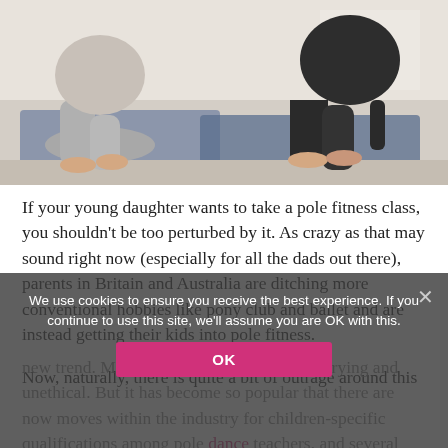[Figure (photo): Two people sitting on yoga mats on the floor in a fitness studio, photographed from mid-torso down, wearing athletic clothing, one in grey leggings and one in black leggings.]
If your young daughter wants to take a pole fitness class, you shouldn't be too perturbed by it. As crazy as that may sound right now (especially for all the dads out there), parents in Britain and Australia are ditching more conventional hobbies like pony club and ballet and are instead getting their kids into pole fitness.
Now, naturally, there is quite a bit of outrage around this new trend. Many people believe it to be worrying and unethical. But it has become so popular that there are now moves within the industry for children-specific qualifications among pole dance teachers, and several hundred youngsters are estimated to attend pole fitness